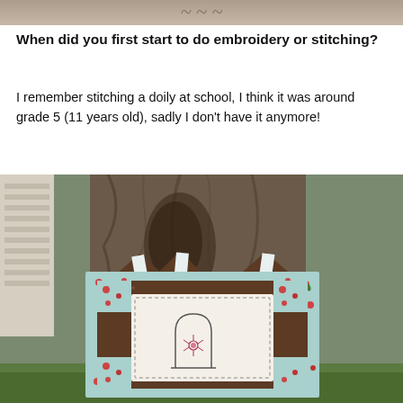[Figure (photo): Top portion of a photo, partially cropped, showing decorative text or image on a light background]
When did you first start to do embroidery or stitching?
I remember stitching a doily at school, I think it was around grade 5 (11 years old), sadly I don't have it anymore!
[Figure (photo): Outdoor photo of a handmade quilted wall hanging with floral fabric (light blue with red roses) and brown polka dot fabric, hanging against a large tree trunk. The center panel shows an embroidered arch/doorway design with a flower. Green grass and a house are visible in the background.]